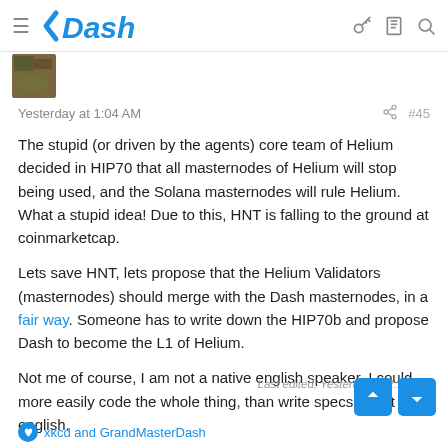Dash
Yesterday at 1:04 AM  #45
The stupid (or driven by the agents) core team of Helium decided in HIP70 that all masternodes of Helium will stop being used, and the Solana masternodes will rule Helium. What a stupid idea! Due to this, HNT is falling to the ground at coinmarketcap.

Lets save HNT, lets propose that the Helium Validators (masternodes) should merge with the Dash masternodes, in a fair way. Someone has to write down the HIP70b and propose Dash to become the L1 of Helium.

Not me of course, I am not a native english speaker. I could more easily code the whole thing, than write specs about it in english.
Last edited: Yesterday at 2:19 PM
xkcd and GrandMasterDash